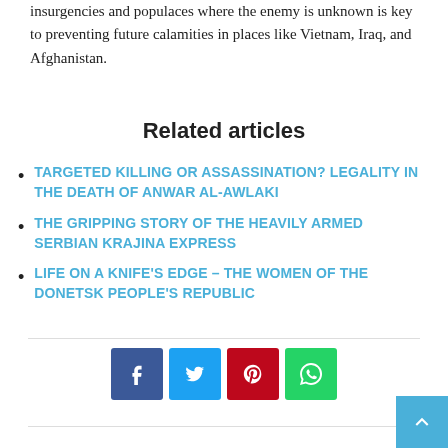insurgencies and populaces where the enemy is unknown is key to preventing future calamities in places like Vietnam, Iraq, and Afghanistan.
Related articles
TARGETED KILLING OR ASSASSINATION? LEGALITY IN THE DEATH OF ANWAR AL-AWLAKI
THE GRIPPING STORY OF THE HEAVILY ARMED SERBIAN KRAJINA EXPRESS
LIFE ON A KNIFE'S EDGE – THE WOMEN OF THE DONETSK PEOPLE'S REPUBLIC
[Figure (infographic): Social sharing buttons: Facebook (blue), Twitter (light blue), Pinterest (red), WhatsApp (green)]